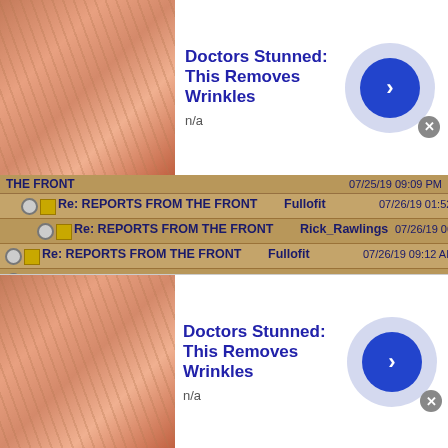[Figure (screenshot): Ad banner at top: thumbnail of wrinkled skin, title 'Doctors Stunned: This Removes Wrinkles', subtitle 'n/a', blue arrow button, close X]
THE FRONT | 07/25/19 09:09 PM
Re: REPORTS FROM THE FRONT | Fullofit | 07/26/19 01:52 AM
Re: REPORTS FROM THE FRONT | Rick_Rawlings | 07/26/19 06:33 AM
Re: REPORTS FROM THE FRONT | Fullofit | 07/26/19 09:12 AM
Re: REPORTS FROM THE FRONT | Trooper117 | 07/26/19 02:14 PM
Re: REPORTS FROM THE FRONT | Rick_Rawlings | 07/26/19 03:03 PM
Re: REPORTS FROM THE FRONT | Rick_Rawlings | 07/26/19 07:42 PM
[Figure (screenshot): Ad banner at bottom: thumbnail of wrinkled skin, title 'Doctors Stunned: This Removes Wrinkles', subtitle 'n/a', blue arrow button]